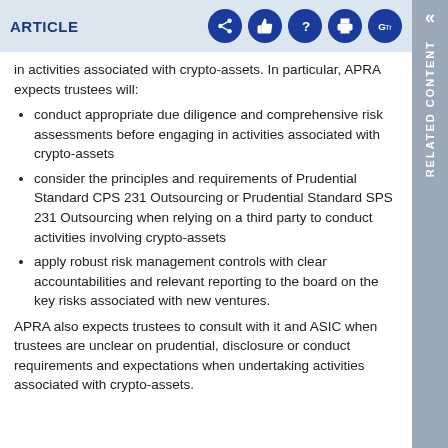ARTICLE
in activities associated with crypto-assets. In particular, APRA expects trustees will:
conduct appropriate due diligence and comprehensive risk assessments before engaging in activities associated with crypto-assets
consider the principles and requirements of Prudential Standard CPS 231 Outsourcing or Prudential Standard SPS 231 Outsourcing when relying on a third party to conduct activities involving crypto-assets
apply robust risk management controls with clear accountabilities and relevant reporting to the board on the key risks associated with new ventures.
APRA also expects trustees to consult with it and ASIC when trustees are unclear on prudential, disclosure or conduct requirements and expectations when undertaking activities associated with crypto-assets.